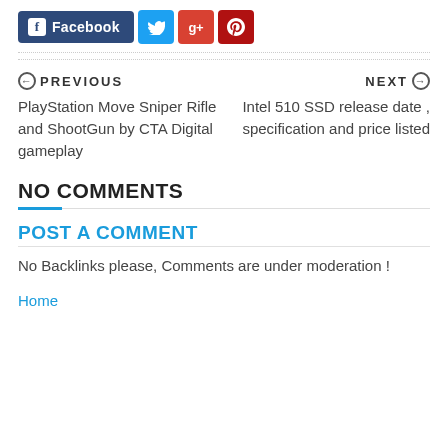[Figure (other): Social share buttons: Facebook (dark blue, wide), Twitter (cyan), Google+ (red-orange), Pinterest (dark red)]
PREVIOUS
PlayStation Move Sniper Rifle and ShootGun by CTA Digital gameplay
NEXT
Intel 510 SSD release date , specification and price listed
NO COMMENTS
POST A COMMENT
No Backlinks please, Comments are under moderation !
Home